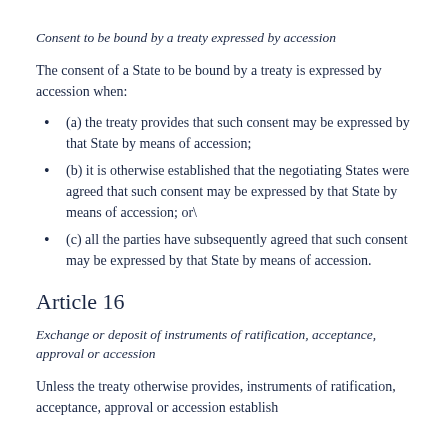Consent to be bound by a treaty expressed by accession
The consent of a State to be bound by a treaty is expressed by accession when:
(a) the treaty provides that such consent may be expressed by that State by means of accession;
(b) it is otherwise established that the negotiating States were agreed that such consent may be expressed by that State by means of accession; or\
(c) all the parties have subsequently agreed that such consent may be expressed by that State by means of accession.
Article 16
Exchange or deposit of instruments of ratification, acceptance, approval or accession
Unless the treaty otherwise provides, instruments of ratification, acceptance, approval or accession establish